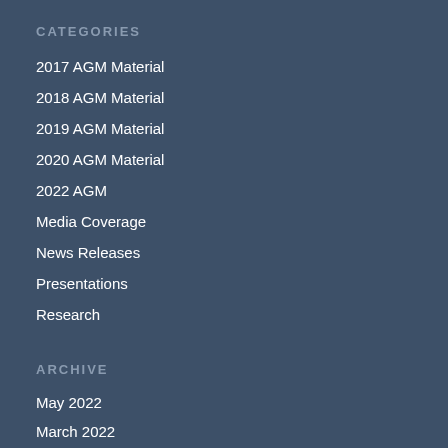CATEGORIES
2017 AGM Material
2018 AGM Material
2019 AGM Material
2020 AGM Material
2022 AGM
Media Coverage
News Releases
Presentations
Research
ARCHIVE
May 2022
March 2022